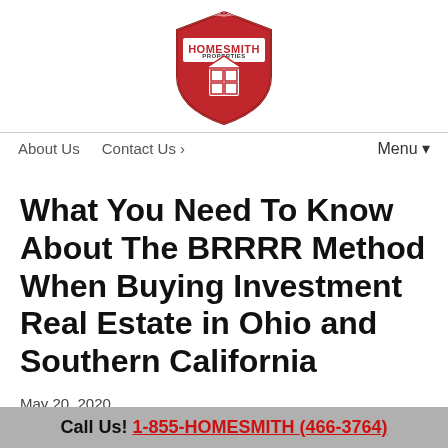[Figure (logo): Homesmith Properties logo — red shield with white house/window grid icon and HOMESMITH PROPERTIES text]
About Us   Contact Us ›   Menu ▾
What You Need To Know About The BRRRR Method When Buying Investment Real Estate in Ohio and Southern California
May 20, 2020
Call Us! 1-855-HOMESMITH (466-3764)